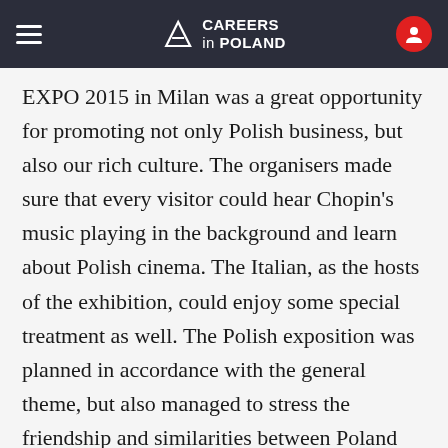CAREERS in POLAND
EXPO 2015 in Milan was a great opportunity for promoting not only Polish business, but also our rich culture. The organisers made sure that every visitor could hear Chopin's music playing in the background and learn about Polish cinema. The Italian, as the hosts of the exhibition, could enjoy some special treatment as well. The Polish exposition was planned in accordance with the general theme, but also managed to stress the friendship and similarities between Poland and the host country. A large part of the exposition was devoted to design, a beloved subject among the Italian. The cultural component also focused on our shared values: the importance of relationships with friends and family and... good food.